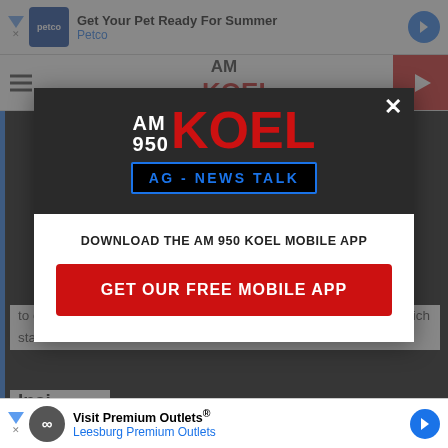[Figure (screenshot): Petco advertisement banner at top: 'Get Your Pet Ready For Summer' with Petco branding and navigation arrow]
AM 950 KOEL
to determine car crash rates by state and answer the question: which state has the most car accidents?
[Figure (logo): AM 950 KOEL modal popup with logo showing AM 950 in white and KOEL in red, AG - NEWS TALK tagline bar in blue on black, download prompt and red CTA button]
DOWNLOAD THE AM 950 KOEL MOBILE APP
GET OUR FREE MOBILE APP
Insi
[Figure (screenshot): Premium Outlets advertisement banner at bottom: 'Visit Premium Outlets® Leesburg Premium Outlets' with infinity logo and navigation arrow]